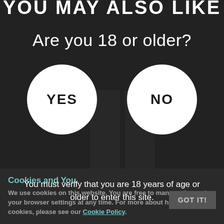YOU MAY ALSO LIKE
Are you 18 or older?
YES
NO
You must verify that you are 18 years of age or older to enter this site.
Cookies and You
We use cookies on this website. You are free to manage these via your browser settings at any time. For more about how we use cookies, please see our Cookie Policy.
GOT IT!